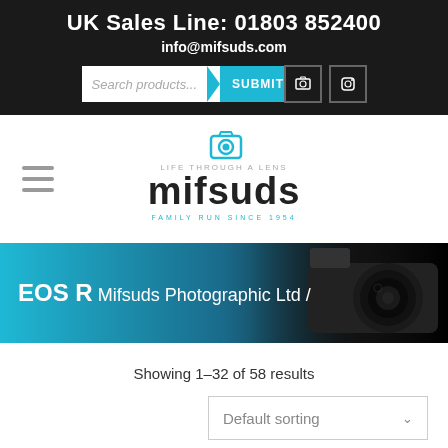UK Sales Line: 01803 852400
info@mifsuds.com
[Figure (screenshot): Search bar with Submit button, Facebook icon, and Instagram icon]
[Figure (logo): Mifsuds logo with camera icon, text MIFSUDS, tagline LIFE THROUGH A LENS and FAMILY RUN SINCE 1954]
[Figure (photo): Banner with EOS R Mifsuds Photographic Ltd / text on blue-to-dark gradient background with camera image on right]
Showing 1–32 of 58 results
Default sorting